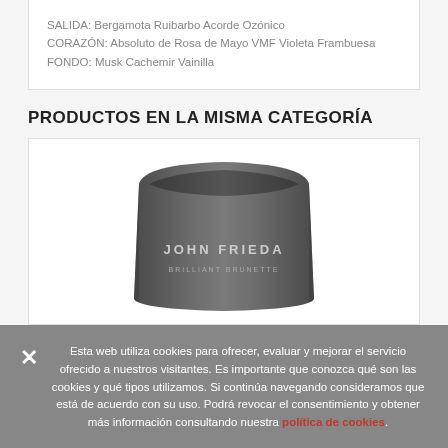SALIDA: Bergamota Ruibarbo Acorde Ozónico
CORAZÓN: Absoluto de Rosa de Mayo VMF Violeta Frambuesa
FONDO: Musk Cachemir Vainilla
PRODUCTOS EN LA MISMA CATEGORÍA
[Figure (photo): Dark grey/black pouch product by John Frieda brand, partially visible]
Esta web utiliza cookies para ofrecer, evaluar y mejorar el servicio ofrecido a nuestros visitantes. Es importante que conozca qué son las cookies y qué tipos utilizamos. Si continúa navegando consideramos que está de acuerdo con su uso. Podrá revocar el consentimiento y obtener más información consultando nuestra política de cookies.